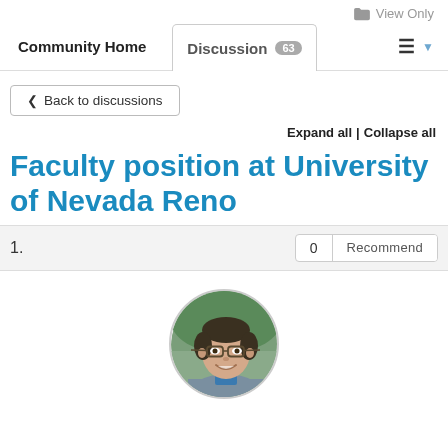View Only
Community Home | Discussion 63
Back to discussions
Expand all | Collapse all
Faculty position at University of Nevada Reno
1.   0  Recommend
[Figure (photo): Circular profile photo of a smiling man with glasses and dark hair, wearing a grey jacket.]